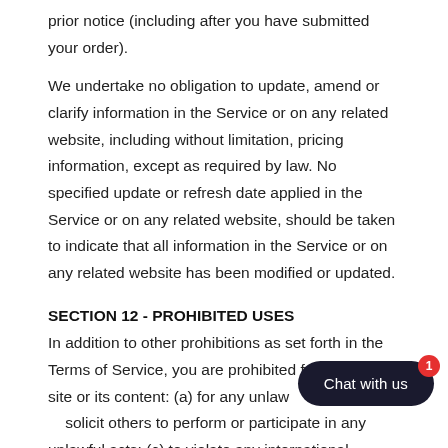prior notice (including after you have submitted your order).
We undertake no obligation to update, amend or clarify information in the Service or on any related website, including without limitation, pricing information, except as required by law. No specified update or refresh date applied in the Service or on any related website, should be taken to indicate that all information in the Service or on any related website has been modified or updated.
SECTION 12 - PROHIBITED USES
In addition to other prohibitions as set forth in the Terms of Service, you are prohibited f… site or its content: (a) for any unlaw… solicit others to perform or participate in any unlawful acts; (c) to violate any international, federal